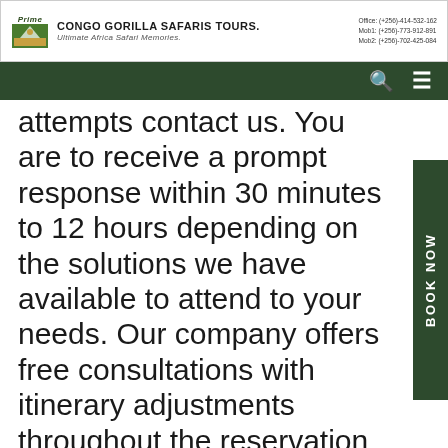Prime CONGO GORILLA SAFARIS TOURS. Ultimate Africa Safari Memories. Office: (+256)-414-532-162 Mob1: (+256)-773-912-891 Mob2: (+256)-702-425-084
attempts contact us. You are to receive a prompt response within 30 minutes to 12 hours depending on the solutions we have available to attend to your needs. Our company offers free consultations with itinerary adjustments throughout the reservation exercise. You're free to customize your dining, transportation (water, Air and road) and hotel accommodations where applicable. We oblige to see you feel a typical Ugandan adventurous experience